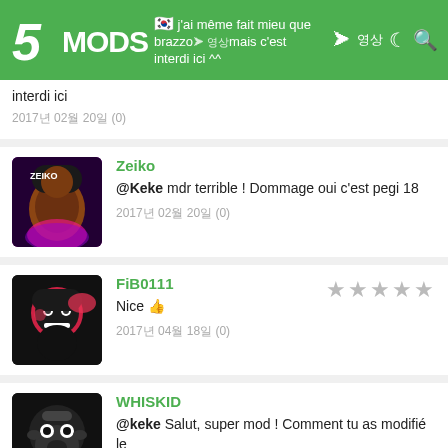5MODS - j'ai même fait mieu que brazzers mais c'est interdi ici
interdi ici
2017년 02월 20일 (0)
Zeiko
@Keke mdr terrible ! Dommage oui c'est pegi 18
2017년 02월 20일 (0)
FiB0111
Nice 👍
2017년 04월 18일 (0)
WHISKID
@keke Salut, super mod ! Comment tu as modifié le ".gfx" stp ?
2020년 05월 18일 (0)
Keke
@WHISKID Merci. Alors franchement je ne me...